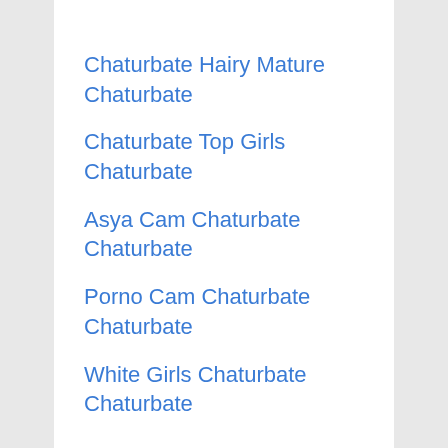Chaturbate Hairy Mature Chaturbate
Chaturbate Top Girls Chaturbate
Asya Cam Chaturbate Chaturbate
Porno Cam Chaturbate Chaturbate
White Girls Chaturbate Chaturbate